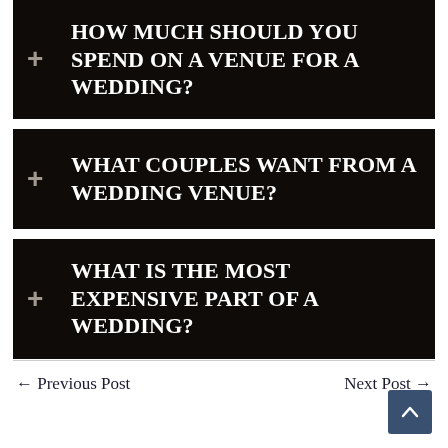+ How much should you spend on a venue for a wedding?
+ What couples want from a wedding venue?
+ What is the most expensive part of a wedding?
← Previous Post    Next Post →